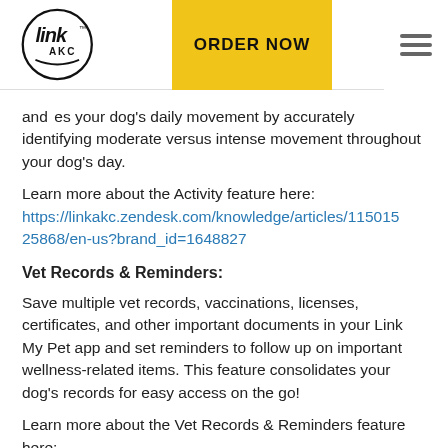ORDER NOW [hamburger menu]
and [tracks] your dog's daily movement by accurately identifying moderate versus intense movement throughout your dog's day.
Learn more about the Activity feature here: https://linkakc.zendesk.com/knowledge/articles/115015525868/en-us?brand_id=1648827
Vet Records & Reminders:
Save multiple vet records, vaccinations, licenses, certificates, and other important documents in your Link My Pet app and set reminders to follow up on important wellness-related items. This feature consolidates your dog's records for easy access on the go!
Learn more about the Vet Records & Reminders feature here: https://linkakc.zendesk.com/knowledge/articles/235961868/en-us?brand_id=1648827
F...